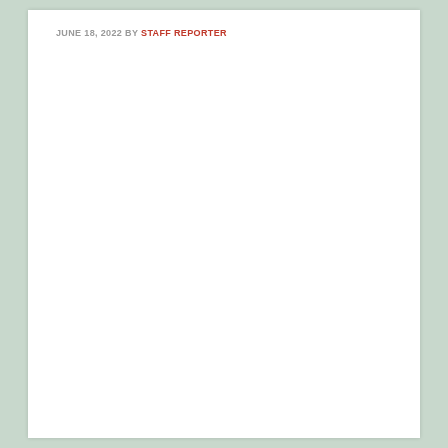JUNE 18, 2022 BY STAFF REPORTER